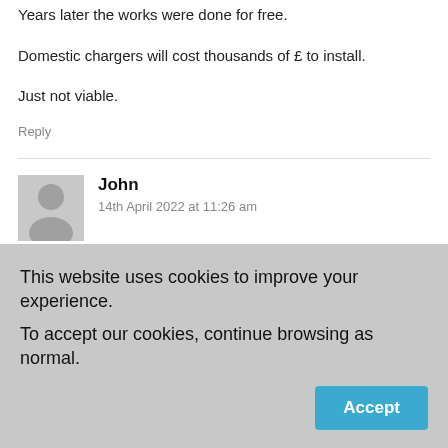Years later the works were done for free.
Domestic chargers will cost thousands of £ to install.
Just not viable.
Reply
John
14th April 2022 at 11:26 am
The vast majority of the sector is not VAT registered or corporate, most PRS housing will not have private parking and very few of those still left as qualifying will have tenants who can affort electric cars. Can't see huge take up, nor can I see that this is good use of government money. I reckon anything we can do on climate change.
This website uses cookies to improve your experience.
To accept our cookies, continue browsing as normal.
Accept